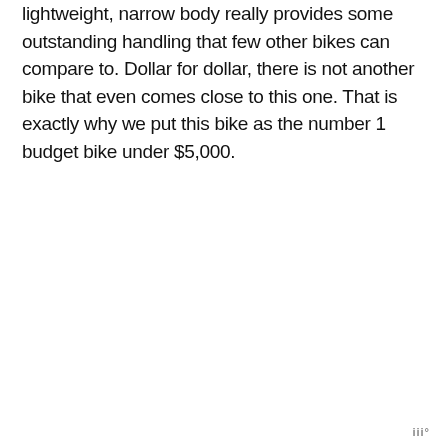lightweight, narrow body really provides some outstanding handling that few other bikes can compare to. Dollar for dollar, there is not another bike that even comes close to this one. That is exactly why we put this bike as the number 1 budget bike under $5,000.
iii°